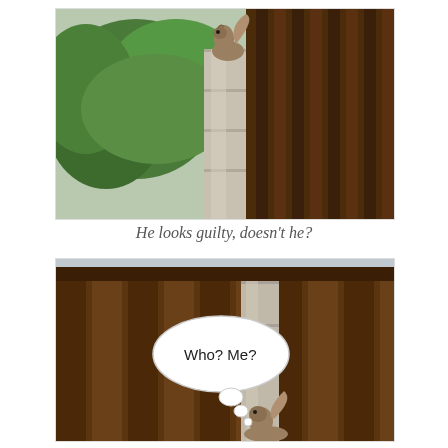[Figure (photo): A squirrel perched on top of a concrete or stone post/column, with green bushes on the left and a dark wooden fence in the background. The squirrel appears to be looking down or away.]
He looks guilty, doesn't he?
[Figure (photo): A squirrel at the base of the same stone post/column between the slats of a dark wooden fence. A thought bubble with 'Who? Me?' is overlaid on the image, with small bubble dots leading to the squirrel.]